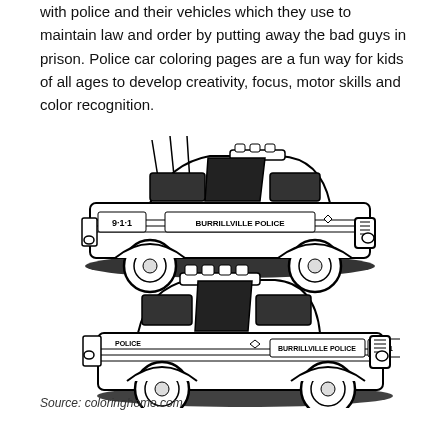with police and their vehicles which they use to maintain law and order by putting away the bad guys in prison. Police car coloring pages are a fun way for kids of all ages to develop creativity, focus, motor skills and color recognition.
[Figure (illustration): Two black-and-white line drawings of Burrillville Police cars (coloring page style). Top car faces left and shows '9-1-1' on the door and 'BURRILLVILLE POLICE' on the side, with antennas and a light bar. Bottom car faces right and also shows 'BURRILLVILLE POLICE' and '9-1-1' on the side, with a light bar on the roof.]
Source: coloringhome.com